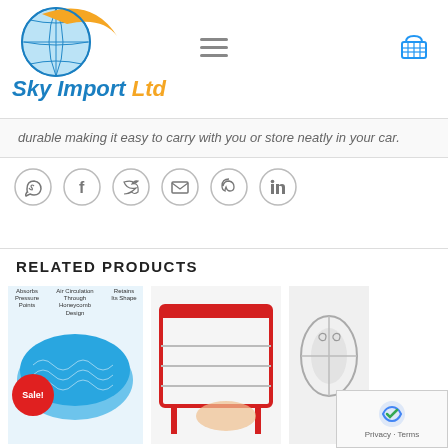[Figure (logo): Sky Import Ltd logo with blue globe and orange swoosh, italic blue and orange text]
durable making it easy to carry with you or store neatly in your car.
[Figure (infographic): Row of social share icons: WhatsApp, Facebook, Twitter, Email, Pinterest, LinkedIn — circular grey outline style]
RELATED PRODUCTS
[Figure (photo): Blue gel seat cushion product photo with Sale! badge and callout labels: Absorbs Pressure Points, Air Circulation Through Honeycomb Design, Retains Its Shape]
[Figure (photo): Red metal dish rack / towel holder product photo]
[Figure (photo): Chrome/silver decorative item product photo]
[Figure (screenshot): reCAPTCHA Privacy - Terms overlay box in bottom right corner]